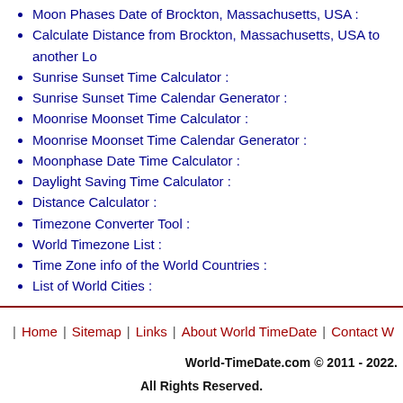Moon Phases Date of Brockton, Massachusetts, USA :
Calculate Distance from Brockton, Massachusetts, USA to another Lo
Sunrise Sunset Time Calculator :
Sunrise Sunset Time Calendar Generator :
Moonrise Moonset Time Calculator :
Moonrise Moonset Time Calendar Generator :
Moonphase Date Time Calculator :
Daylight Saving Time Calculator :
Distance Calculator :
Timezone Converter Tool :
World Timezone List :
Time Zone info of the World Countries :
List of World Cities :
Home | Sitemap | Links | About World TimeDate | Contact W
World-TimeDate.com © 2011 - 2022. All Rights Reserved.